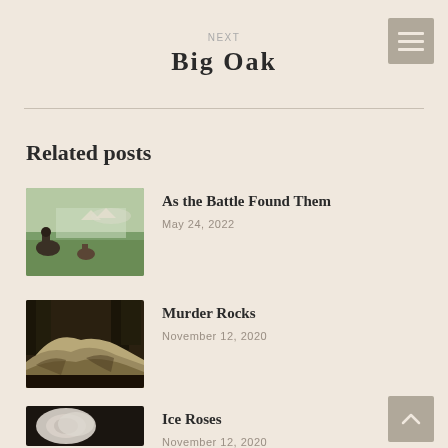NEXT
Big Oak
Related posts
As the Battle Found Them
May 24, 2022
Murder Rocks
November 12, 2020
Ice Roses
November 12, 2020